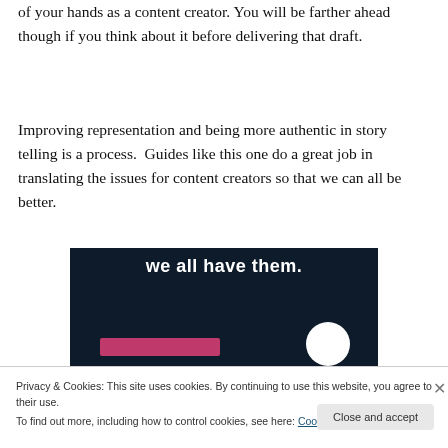of your hands as a content creator. You will be farther ahead though if you think about it before delivering that draft.
Improving representation and being more authentic in story telling is a process. Guides like this one do a great job in translating the issues for content creators so that we can all be better.
[Figure (screenshot): Dark navy background image with bold white text partially visible reading 'we all have them.' with a pink horizontal bar and white circle at the bottom]
Privacy & Cookies: This site uses cookies. By continuing to use this website, you agree to their use.
To find out more, including how to control cookies, see here: Cookie Policy